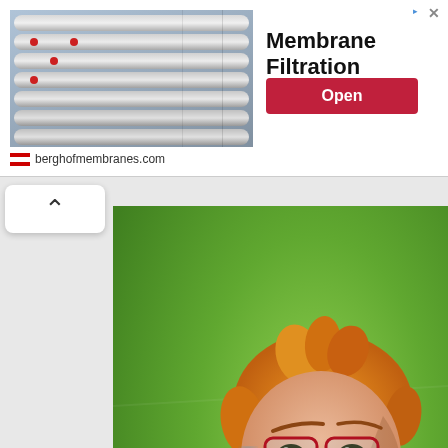[Figure (photo): Industrial membrane filtration facility with rows of large white pipes]
Membrane Filtration
Open
berghofmembranes.com
[Figure (illustration): Anime character with orange hair and red glasses holding a blue energy flame in his hand, green background]
Advertising